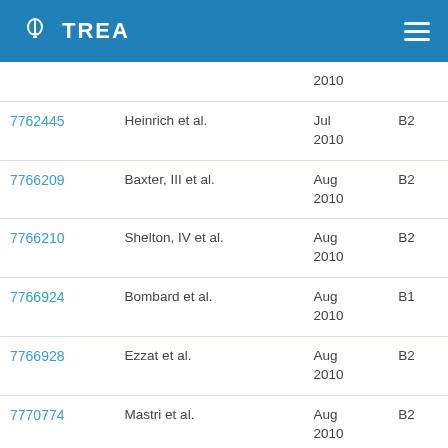TREA
| Patent No. | Inventor | Date | Kind |
| --- | --- | --- | --- |
|  |  | 2010 |  |
| 7762445 | Heinrich et al. | Jul 2010 | B2 |
| 7766209 | Baxter, III et al. | Aug 2010 | B2 |
| 7766210 | Shelton, IV et al. | Aug 2010 | B2 |
| 7766924 | Bombard et al. | Aug 2010 | B1 |
| 7766928 | Ezzat et al. | Aug 2010 | B2 |
| 7770774 | Mastri et al. | Aug 2010 | B2 |